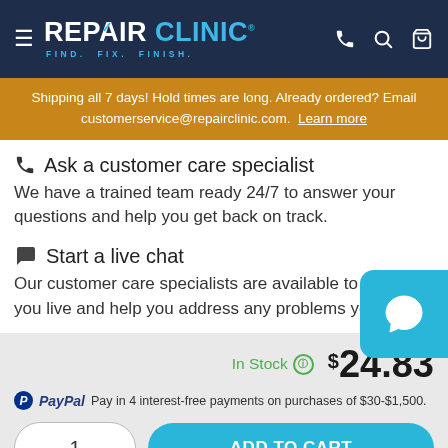REPAIR CLINIC — FIND. FIX. FINISH.
Shipping all 7 days! Hold times are long. Already ordered? Email customerservice@repairclinic.com. Learn more
Ask a customer care specialist
We have a trained team ready 24/7 to answer your questions and help you get back on track.
Start a live chat
Our customer care specialists are available to chat with you live and help you address any problems you have.
In Stock  $24.83
PayPal  Pay in 4 interest-free payments on purchases of $30-$1,500.
1  ADD TO CART
Order today, this part ships tomorrow!